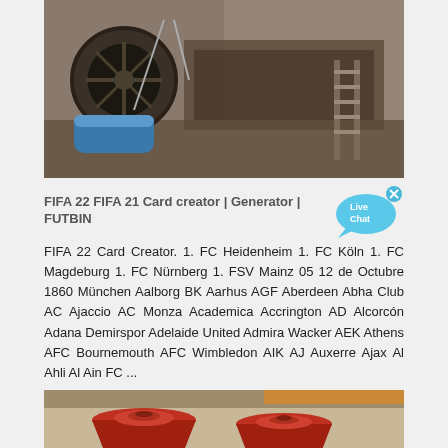[Figure (photo): Industrial machinery / mining equipment with a blue motor, large wheels and conveyor structure outdoors]
FIFA 22 FIFA 21 Card creator | Generator | FUTBIN
[Figure (illustration): Live Chat bubble icon in cyan/blue with 'Live Chat' text and an x close button]
FIFA 22 Card Creator. 1. FC Heidenheim 1. FC Köln 1. FC Magdeburg 1. FC Nürnberg 1. FSV Mainz 05 12 de Octubre 1860 München Aalborg BK Aarhus AGF Aberdeen Abha Club AC Ajaccio AC Monza Academica Accrington AD Alcorcón Adana Demirspor Adelaide United Admira Wacker AEK Athens AFC Bournemouth AFC Wimbledon AIK AJ Auxerre Ajax Al Ahli Al Ain FC ...
[Figure (photo): Industrial red cone crusher machinery inside a factory/warehouse setting]